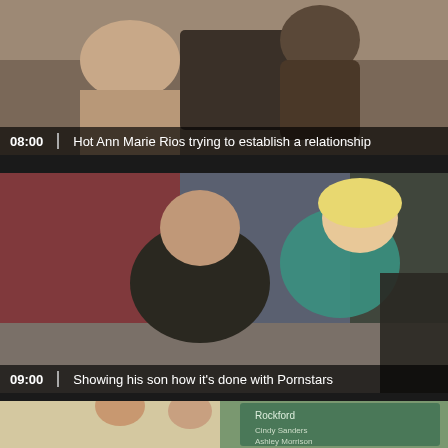[Figure (photo): Video thumbnail 1 showing a scene with overlay text: duration 08:00 and title 'Hot Ann Marie Rios trying to establish a relationship']
[Figure (photo): Video thumbnail 2 showing a couple on a couch scene with overlay text: duration 09:00 and title 'Showing his son how it's done with Pornstars']
[Figure (photo): Video thumbnail 3 partially visible at bottom of page, showing a classroom scene]